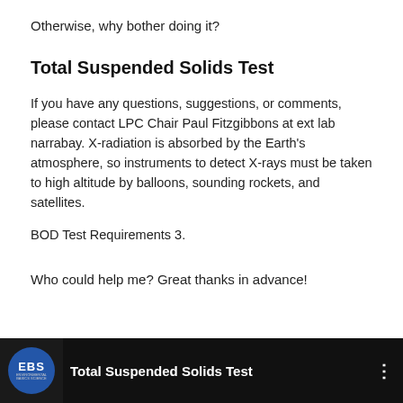Otherwise, why bother doing it?
Total Suspended Solids Test
If you have any questions, suggestions, or comments, please contact LPC Chair Paul Fitzgibbons at ext lab narrabay. X-radiation is absorbed by the Earth's atmosphere, so instruments to detect X-rays must be taken to high altitude by balloons, sounding rockets, and satellites.
BOD Test Requirements 3.
Who could help me? Great thanks in advance!
[Figure (screenshot): Video thumbnail/player bar showing EBS logo (blue circle with 'EBS' text) on dark background, with title 'Total Suspended Solids Test' in white text and a three-dot menu icon on the right.]